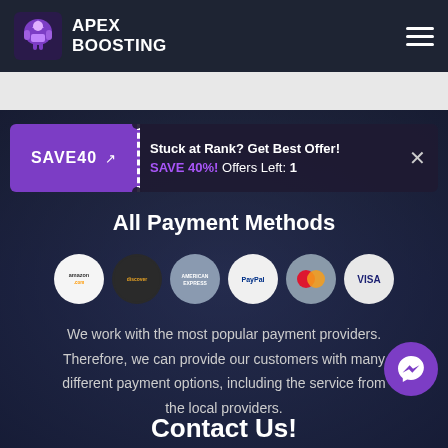APEX BOOSTING
Stuck at Rank? Get Best Offer! SAVE 40%! Offers Left: 1
All Payment Methods
[Figure (infographic): Row of 6 circular payment method icons: Amazon, Discover, Amex, PayPal, Mastercard, Visa]
We work with the most popular payment providers. Therefore, we can provide our customers with many different payment options, including the service from the local providers.
Contact Us!